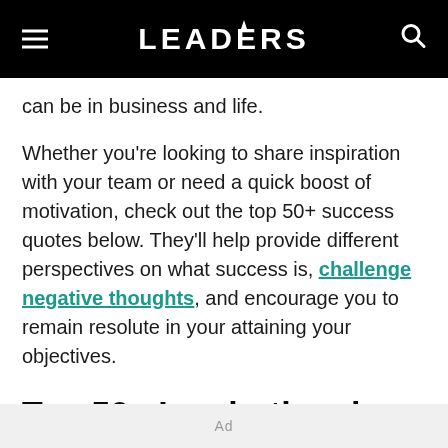LEADERS
can be in business and life.
Whether you're looking to share inspiration with your team or need a quick boost of motivation, check out the top 50+ success quotes below. They'll help provide different perspectives on what success is, challenge negative thoughts, and encourage you to remain resolute in your attaining your objectives.
Top 50+ Inspirational Quotes from Famous Leaders
Ad